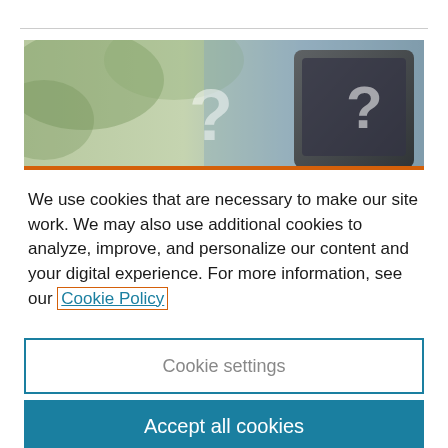[Figure (photo): Banner photo showing blurred background with question mark symbols and a dark tablet device]
We use cookies that are necessary to make our site work. We may also use additional cookies to analyze, improve, and personalize our content and your digital experience. For more information, see our Cookie Policy
Cookie settings
Accept all cookies